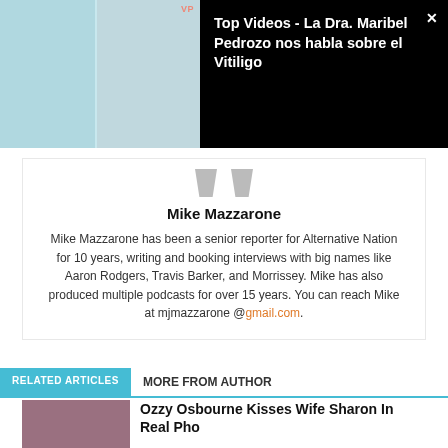[Figure (screenshot): Video thumbnail showing two women in a video call interface with teal/light blue background. A 'VP' badge appears top right of thumbnail.]
Top Videos - La Dra. Maribel Pedrozo nos habla sobre el Vitiligo
Mike Mazzarone
Mike Mazzarone has been a senior reporter for Alternative Nation for 10 years, writing and booking interviews with big names like Aaron Rodgers, Travis Barker, and Morrissey. Mike has also produced multiple podcasts for over 15 years. You can reach Mike at mjmazzarone @gmail.com.
RELATED ARTICLES
MORE FROM AUTHOR
Ozzy Osbourne Kisses Wife Sharon In Real Pho...
[Figure (photo): Article thumbnail photo showing people at an event]